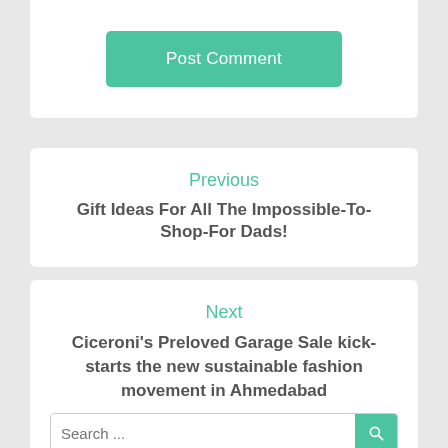[Figure (other): Post Comment button - teal/green rounded rectangle button with white text]
Previous
Gift Ideas For All The Impossible-To-Shop-For Dads!
Next
Ciceroni's Preloved Garage Sale kick-starts the new sustainable fashion movement in Ahmedabad
Search ...